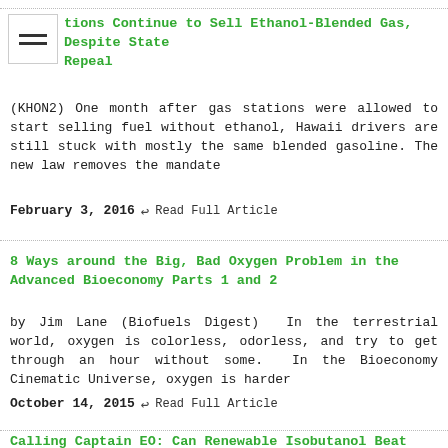tions Continue to Sell Ethanol-Blended Gas, Despite State Repeal
(KHON2) One month after gas stations were allowed to start selling fuel without ethanol, Hawaii drivers are still stuck with mostly the same blended gasoline. The new law removes the mandate
February 3, 2016  ↩ Read Full Article
8 Ways around the Big, Bad Oxygen Problem in the Advanced Bioeconomy Parts 1 and 2
by Jim Lane (Biofuels Digest)  In the terrestrial world, oxygen is colorless, odorless, and try to get through an hour without some.  In the Bioeconomy Cinematic Universe, oxygen is harder
October 14, 2015  ↩ Read Full Article
Calling Captain EO: Can Renewable Isobutanol Beat out Ethanol-Free Gasoline in the Powerboat Sector?
by Jim Lane (Biofuels Digest)  E-Zero – ethanol-free gas, popular with boaters, but here comes isobutanol, with Gevo leading